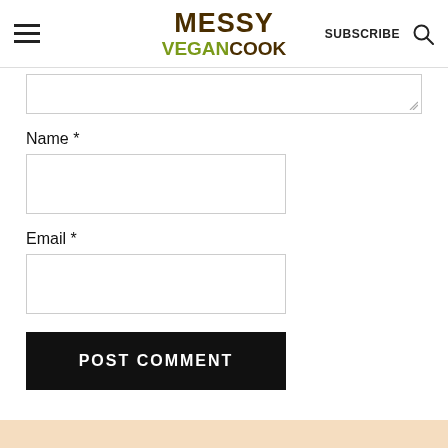MESSY VEGAN COOK | SUBSCRIBE
Name *
Email *
POST COMMENT